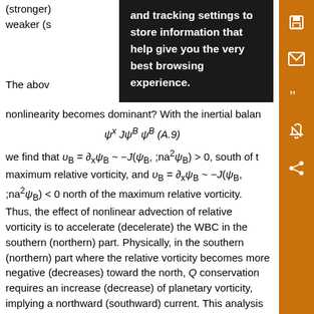(stronger) weaker (s...
[Figure (other): Dark overlay popup with text: 'and tracking settings to store information that help give you the very best browsing experience.']
The above ... eak nonlinear ...
nonlinearity becomes dominant? With the inertial balan
we find that υ_B = ∂_x ψ_B ~ −J(ψ_B, ;na²ψ_B) > 0, south of the maximum relative vorticity, and υ_B = ∂_x ψ_B ~ −J(ψ_B, ;na²ψ_B) < 0 north of the maximum relative vorticity. Thus, the effect of nonlinear advection of relative vorticity is to accelerate (decelerate) the WBC in the southern (northern) part. Physically, in the southern (northern) part where the relative vorticity becomes more negative (decreases) toward the north, Q conservation requires an increase (decrease) of planetary vorticity, implying a northward (southward) current. This analysis